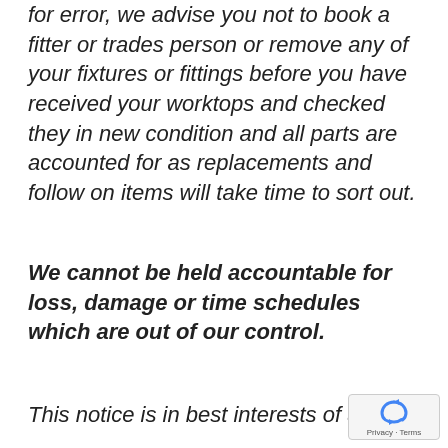for error, we advise you not to book a fitter or trades person or remove any of your fixtures or fittings before you have received your worktops and checked they in new condition and all parts are accounted for as replacements and follow on items will take time to sort out.
We cannot be held accountable for loss, damage or time schedules which are out of our control.
This notice is in best interests of all ou...